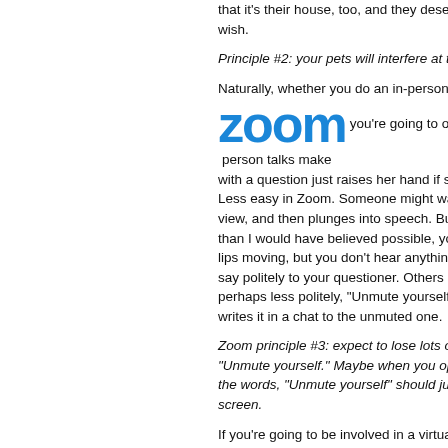that it's their house, too, and they deserve to do as they wish.
Principle #2: your pets will interfere at the worst time.
Naturally, whether you do an in-person talk or a Zoom talk, you're going to open yourself up to questions. In-person talks make it easy: someone with a question just raises her hand if she wants to speak. Less easy in Zoom. Someone might wave their hand into view, and then plunges into speech. But more often than I would have believed possible, you see someone's lips moving, but you don't hear anything. "You're muted," say politely to your questioner. Others in the group might, perhaps less politely, "Unmute yourself." Or someone writes it in a chat to the unmuted one.
Zoom principle #3: expect to lose lots of time saying, "Unmute yourself." Maybe when you open a Zoom session, the words, "Unmute yourself" should just flash across the screen.
If you're going to be involved in a virtual conference with a few people, the group better have a strong leader. I've been in both kinds. During in-person ses